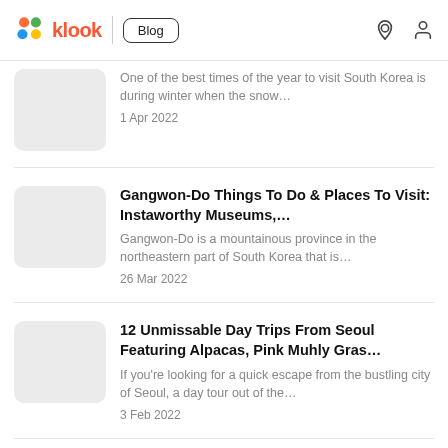klook Blog
One of the best times of the year to visit South Korea is during winter when the snow…
1 Apr 2022
Gangwon-Do Things To Do & Places To Visit: Instaworthy Museums,…
Gangwon-Do is a mountainous province in the northeastern part of South Korea that is…
26 Mar 2022
12 Unmissable Day Trips From Seoul Featuring Alpacas, Pink Muhly Gras…
If you're looking for a quick escape from the bustling city of Seoul, a day tour out of the…
3 Feb 2022